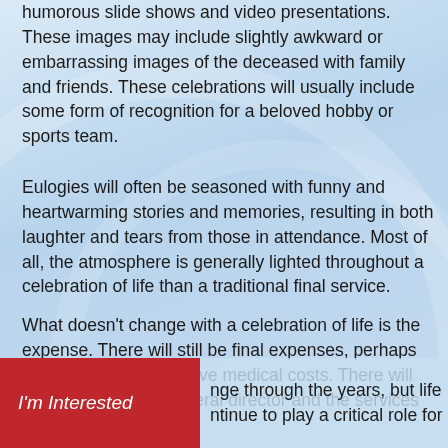humorous slide shows and video presentations. These images may include slightly awkward or embarrassing images of the deceased with family and friends. These celebrations will usually include some form of recognition for a beloved hobby or sports team.
Eulogies will often be seasoned with funny and heartwarming stories and memories, resulting in both laughter and tears from those in attendance. Most of all, the atmosphere is generally lighted throughout a celebration of life than a traditional final service.
What doesn't change with a celebration of life is the expense. There will still be final expenses, perhaps even including expensive medical costs. There will be the costs of the funeral director and the services they provide.
nge through the years, but life ntinue to play a critical role for
I'm Interested